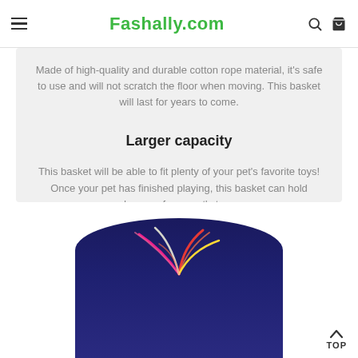Fashally.com
Made of high-quality and durable cotton rope material, it's safe to use and will not scratch the floor when moving. This basket will last for years to come.
Larger capacity
This basket will be able to fit plenty of your pet's favorite toys! Once your pet has finished playing, this basket can hold dozens of your cat's toys.
[Figure (photo): Product photo showing the top portion of a dark navy blue woven basket with colorful feather toys sticking out of it.]